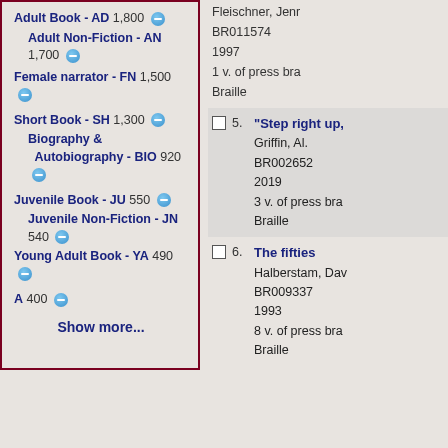Adult Book - AD 1,800
Adult Non-Fiction - AN 1,700
Female narrator - FN 1,500
Short Book - SH 1,300
Biography & Autobiography - BIO 920
Juvenile Book - JU 550
Juvenile Non-Fiction - JN 540
Young Adult Book - YA 490
A 400
Show more...
Fleischner, Jenr
BR011574
1997
1 v. of press bra
Braille
5. "Step right up,
Griffin, Al.
BR002652
2019
3 v. of press bra
Braille
6. The fifties
Halberstam, Dav
BR009337
1993
8 v. of press bra
Braille